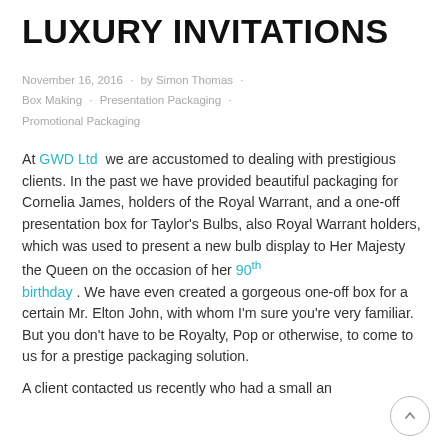LUXURY INVITATIONS
November 16, 2016 · by Simon Thomas · Box Making · Presentation Packaging · Promotional Packaging
At GWD Ltd we are accustomed to dealing with prestigious clients. In the past we have provided beautiful packaging for Cornelia James, holders of the Royal Warrant, and a one-off presentation box for Taylor's Bulbs, also Royal Warrant holders, which was used to present a new bulb display to Her Majesty the Queen on the occasion of her 90th birthday . We have even created a gorgeous one-off box for a certain Mr. Elton John, with whom I'm sure you're very familiar. But you don't have to be Royalty, Pop or otherwise, to come to us for a prestige packaging solution.
A client contacted us recently who had a small an…